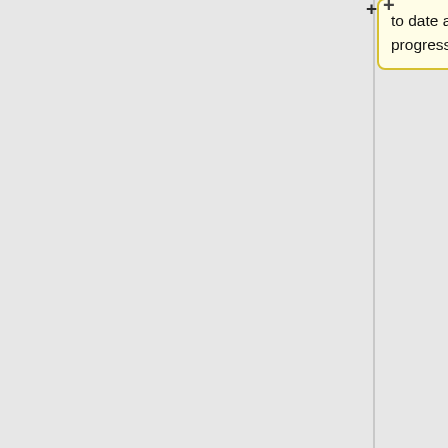to date as the release progresses.)
to date as the release progresses.)
* The default branch in Github for the OPL repository (https://github.com/openwebwork/webwork-open-problem-library) is now main instead of master. If you have a local clone with the old master branch, then you can switch to main with
*: <code>> git